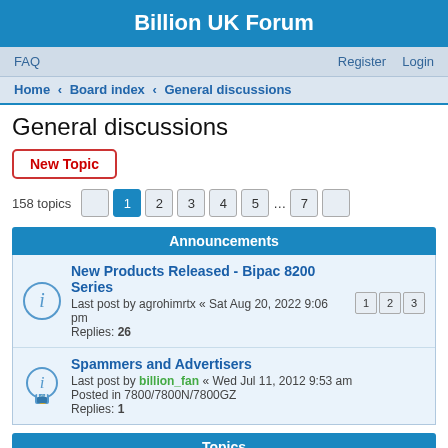Billion UK Forum
FAQ   Register   Login
Home · Board index · General discussions
General discussions
New Topic
158 topics   1 2 3 4 5 ... 7
Announcements
New Products Released - Bipac 8200 Series
Last post by agrohimrtx « Sat Aug 20, 2022 9:06 pm
Replies: 26
Spammers and Advertisers
Last post by billion_fan « Wed Jul 11, 2012 9:53 am
Posted in 7800/7800N/7800GZ
Replies: 1
Topics
rMkB571825 tYqV758818
Last post by Acoudge « Sun Aug 21, 2022 11:27 am